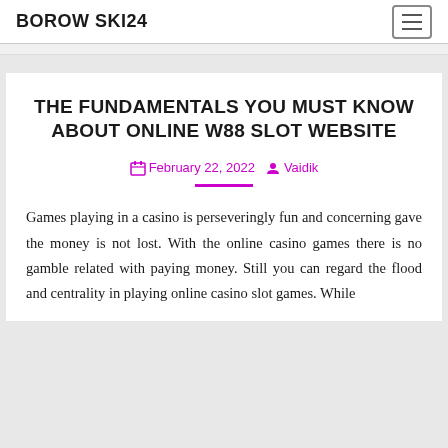BOROW SKI24
THE FUNDAMENTALS YOU MUST KNOW ABOUT ONLINE W88 SLOT WEBSITE
February 22, 2022  Vaidik
Games playing in a casino is perseveringly fun and concerning gave the money is not lost. With the online casino games there is no gamble related with paying money. Still you can regard the flood and centrality in playing online casino slot games. While